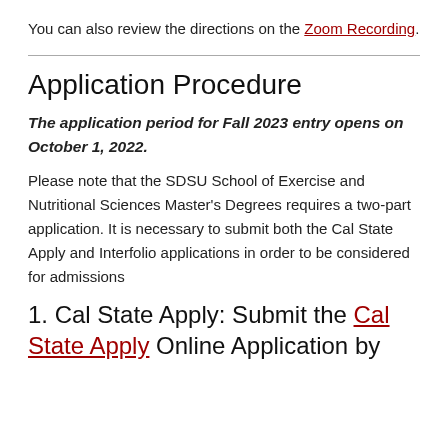You can also review the directions on the Zoom Recording.
Application Procedure
The application period for Fall 2023 entry opens on October 1, 2022.
Please note that the SDSU School of Exercise and Nutritional Sciences Master's Degrees requires a two-part application. It is necessary to submit both the Cal State Apply and Interfolio applications in order to be considered for admissions
1. Cal State Apply: Submit the Cal State Apply Online Application by